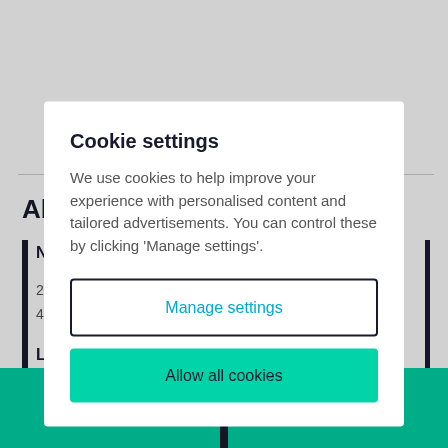About the agent
Cookie settings
We use cookies to help improve your experience with personalised content and tailored advertisements. You can control these by clicking 'Manage settings'.
Manage settings
Allow all cookies
Email agent
Call agent